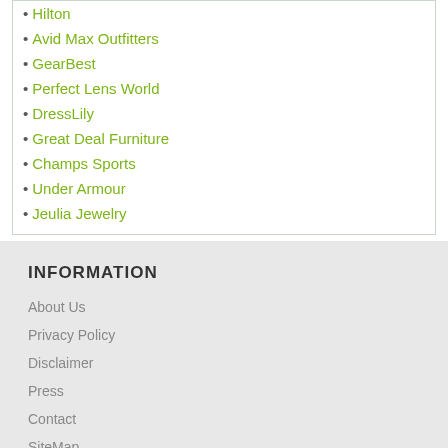• Hilton
• Avid Max Outfitters
• GearBest
• Perfect Lens World
• DressLily
• Great Deal Furniture
• Champs Sports
• Under Armour
• Jeulia Jewelry
INFORMATION
About Us
Privacy Policy
Disclaimer
Press
Contact
SiteMap